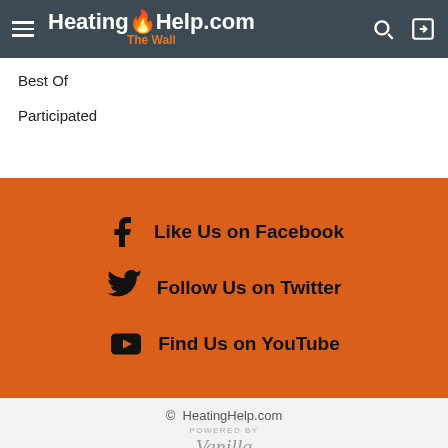HeatingHelp.com The Wall
Best Of
Participated
[Figure (infographic): Orange social media section with Facebook, Twitter, and YouTube links]
© HeatingHelp.com — POWERED BY Vanilla